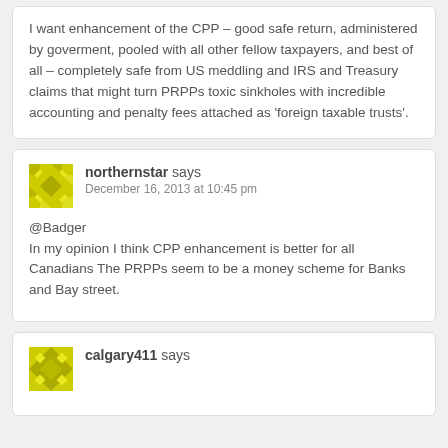I want enhancement of the CPP – good safe return, administered by goverment, pooled with all other fellow taxpayers, and best of all – completely safe from US meddling and IRS and Treasury claims that might turn PRPPs toxic sinkholes with incredible accounting and penalty fees attached as 'foreign taxable trusts'.
northernstar says December 16, 2013 at 10:45 pm
@Badger
In my opinion I think CPP enhancement is better for all Canadians The PRPPs seem to be a money scheme for Banks and Bay street.
calgary411 says